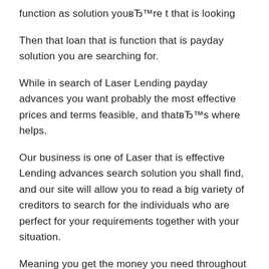function as solution youвЂ™re t that is looking
Then that loan that is function that is payday solution you are searching for.
While in search of Laser Lending payday advances you want probably the most effective prices and terms feasible, and thatвЂ™s where helps.
Our business is one of Laser that is effective Lending advances search solution you shall find, and our site will allow you to read a big variety of creditors to search for the individuals who are perfect for your requirements together with your situation.
Meaning you get the money you need throughout the rates combined with terms that you want.